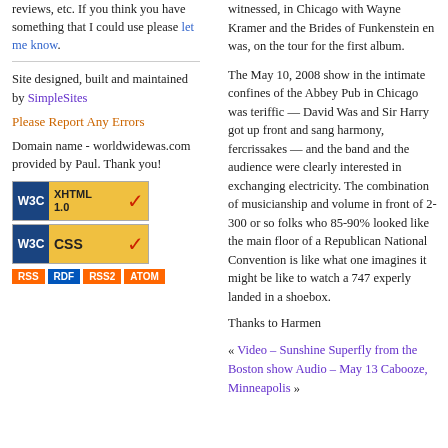reviews, etc. If you think you have something that I could use please let me know.
Site designed, built and maintained by SimpleSites
Please Report Any Errors
Domain name - worldwidewas.com provided by Paul. Thank you!
[Figure (logo): W3C XHTML 1.0 and W3C CSS validation badges stacked, followed by RSS, RDF, RSS2, ATOM feed buttons]
witnessed, in Chicago with Wayne Kramer and the Brides of Funkenstein en was, on the tour for the first album.
The May 10, 2008 show in the intimate confines of the Abbey Pub in Chicago was teriffic — David Was and Sir Harry got up front and sang harmony, fercrissakes — and the band and the audience were clearly interested in exchanging electricity. The combination of musicianship and volume in front of 2-300 or so folks who 85-90% looked like the main floor of a Republican National Convention is like what one imagines it might be like to watch a 747 experly landed in a shoebox.
Thanks to Harmen
« Video – Sunshine Superfly from the Boston show Audio – May 13 Cabooze, Minneapolis »